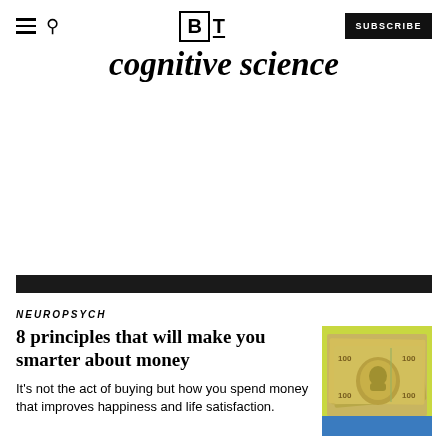BT — SUBSCRIBE
cognitive science
NEUROPSYCH
8 principles that will make you smarter about money
It's not the act of buying but how you spend money that improves happiness and life satisfaction.
[Figure (photo): Stack of US hundred dollar bills fanned out, photographed from above on a colorful background]